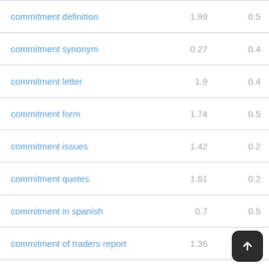|  |  |  |
| --- | --- | --- |
| commitment definition | 1.99 | 0.5 |
| commitment synonym | 0.27 | 0.4 |
| commitment letter | 1.9 | 0.4 |
| commitment form | 1.74 | 0.5 |
| commitment issues | 1.42 | 0.2 |
| commitment quotes | 1.61 | 0.2 |
| commitment in spanish | 0.7 | 0.5 |
| commitment of traders report | 1.36 | 1 |
| commitment ceremony | 0.65 | 0.4 |